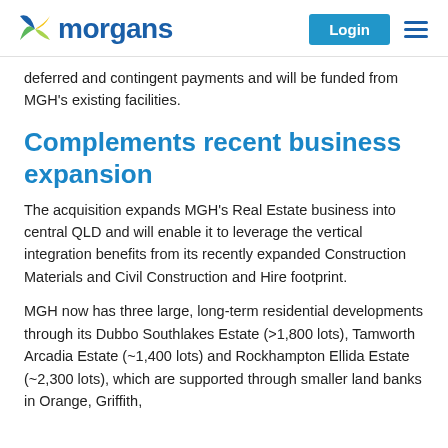morgans | Login
deferred and contingent payments and will be funded from MGH's existing facilities.
Complements recent business expansion
The acquisition expands MGH's Real Estate business into central QLD and will enable it to leverage the vertical integration benefits from its recently expanded Construction Materials and Civil Construction and Hire footprint.
MGH now has three large, long-term residential developments through its Dubbo Southlakes Estate (>1,800 lots), Tamworth Arcadia Estate (~1,400 lots) and Rockhampton Ellida Estate (~2,300 lots), which are supported through smaller land banks in Orange, Griffith,